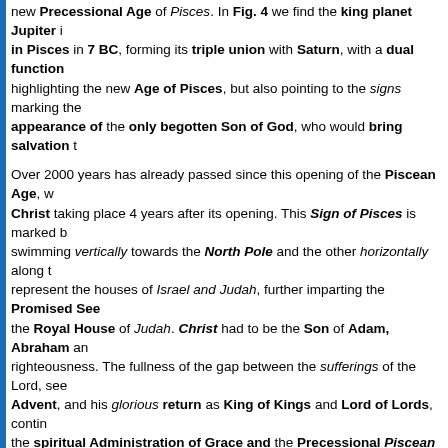new Precessional Age of Pisces. In Fig. 4 we find the king planet Jupiter in Pisces in 7 BC, forming its triple union with Saturn, with a dual function highlighting the new Age of Pisces, but also pointing to the signs marking the appearance of the only begotten Son of God, who would bring salvation to
Over 2000 years has already passed since this opening of the Piscean Age, with Christ taking place 4 years after its opening. This Sign of Pisces is marked by swimming vertically towards the North Pole and the other horizontally along the represent the houses of Israel and Judah, further imparting the Promised Seed the Royal House of Judah. Christ had to be the Son of Adam, Abraham and righteousness. The fullness of the gap between the sufferings of the Lord, see Advent, and his glorious return as King of Kings and Lord of Lords, continuing the spiritual Administration of Grace and the Precessional Piscean Age.
During the time of the rise of ancient Israel, in last millennium BC, there were conjunctions between these two planets, with at least 7 Jupiter-Saturn triple place, with varying intervals from 40 years (as from 861 to 821 BC and again 523) to 377 years (as between 523 to 146 BC). The events following the 7 BC Jupiter-Saturn are shown in the chart below [Fig. 4], in 5-BC, as specific key lead to the Magi's recognition of the birth of Christ, in 3-2 BC.
Figure. 4 The Celestial Prelude-Specific Signs of 7 BC to 5 BC
| Date | Conjunction of Planets |
| --- | --- |
| May 27th, 7 BC | Jupiter-Saturn |